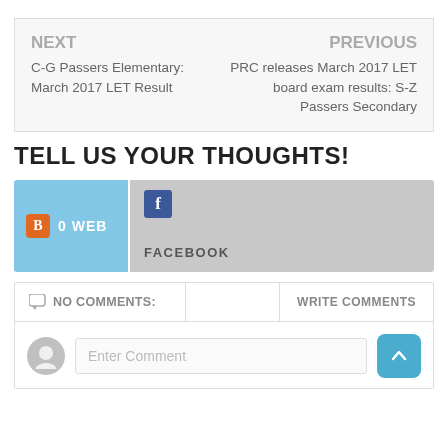NEXT
C-G Passers Elementary: March 2017 LET Result
PREVIOUS
PRC releases March 2017 LET board exam results: S-Z Passers Secondary
TELL US YOUR THOUGHTS!
[Figure (screenshot): Social sharing panel with Blogger button showing '0 WEB' and Facebook panel showing Facebook icon and 'FACEBOOK' label]
NO COMMENTS:
WRITE COMMENTS
Enter Comment